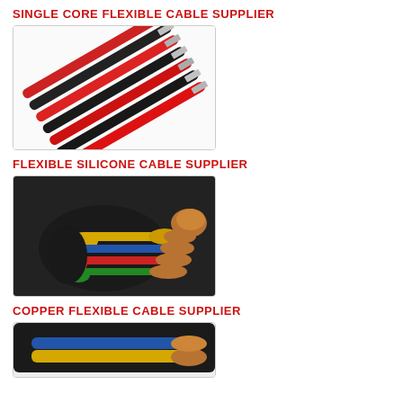SINGLE CORE FLEXIBLE CABLE SUPPLIER
[Figure (photo): Photo of multiple single core flexible cables with red and black insulation, showing bare copper/silver stranded wire ends fanned out, arranged diagonally on white background.]
FLEXIBLE SILICONE CABLE SUPPLIER
[Figure (photo): Photo of a multi-core flexible cable cut open, showing black outer sheath with yellow, blue, red, and green inner insulated cores, each with exposed copper stranded conductors fanned out.]
COPPER FLEXIBLE CABLE SUPPLIER
[Figure (photo): Partially visible photo of copper flexible cables with black outer jacket, showing yellow and blue inner cores and exposed copper conductors, partially cropped at bottom of page.]